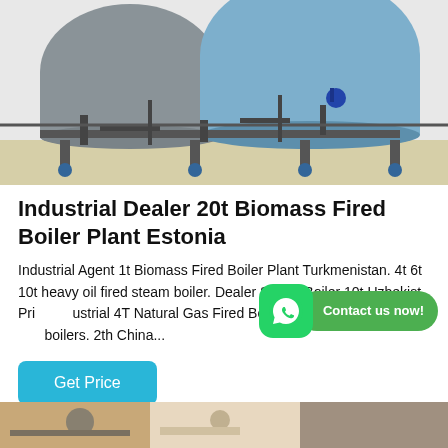[Figure (photo): Industrial biomass fired boilers in a facility — large cylindrical blue/grey boilers with pipes and fittings on a concrete floor.]
Industrial Dealer 20t Biomass Fired Boiler Plant Estonia
Industrial Agent 1t Biomass Fired Boiler Plant Turkmenistan. 4t 6t 10t heavy oil fired steam boiler. Dealer Steam Boiler 10t Uzbekist. Price Industrial 4T Natural Gas Fired Boiler Nepal. 2t hr natural gas boilers. 2th China...
[Figure (other): WhatsApp icon button with green 'Contact us now!' call-to-action button overlay]
[Figure (other): Get Price button — blue rounded rectangle]
[Figure (photo): Partial view of another industrial boiler image at the bottom of the page.]